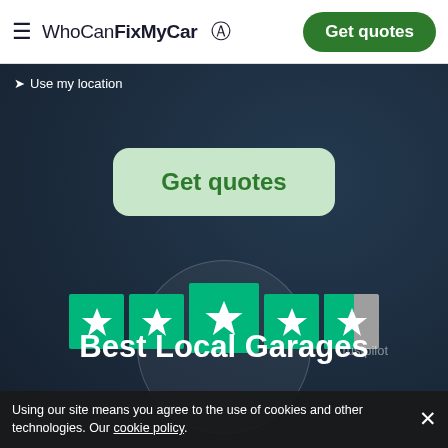≡ WhoCanFixMyCar  [user icon]  Get quotes
Use my location
Get quotes
[Figure (other): Trustpilot 5-star rating widget showing 4 full green stars and 1 half star on dark navy background with circular overlay]
Best Local Garages
Trustpilot
Using our site means you agree to the use of cookies and other technologies. Our cookie policy.